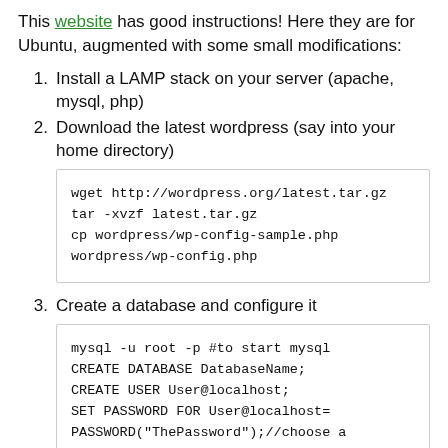This website has good instructions! Here they are for Ubuntu, augmented with some small modifications:
1. Install a LAMP stack on your server (apache, mysql, php)
2. Download the latest wordpress (say into your home directory)
wget http://wordpress.org/latest.tar.gz
tar -xvzf latest.tar.gz
cp wordpress/wp-config-sample.php wordpress/wp-config.php
3. Create a database and configure it
mysql -u root -p #to start mysql
CREATE DATABASE DatabaseName;
CREATE USER User@localhost;
SET PASSWORD FOR User@localhost=
PASSWORD("ThePassword");//choose a
different password!